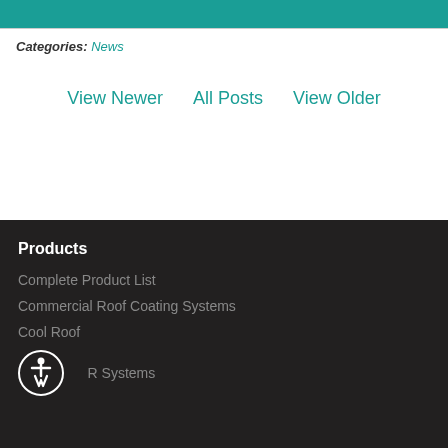Categories: News
View Newer   All Posts   View Older
Products
Complete Product List
Commercial Roof Coating Systems
Cool Roof
FAPR Systems